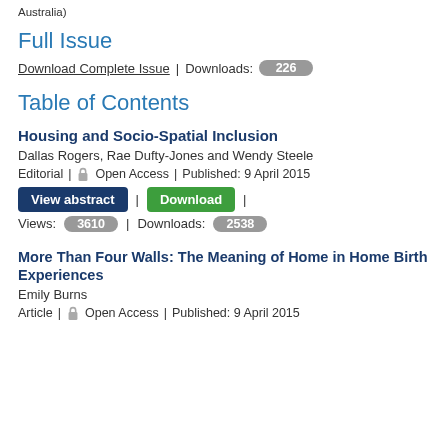Australia)
Full Issue
Download Complete Issue | Downloads: 226
Table of Contents
Housing and Socio-Spatial Inclusion
Dallas Rogers, Rae Dufty-Jones and Wendy Steele
Editorial | Open Access | Published: 9 April 2015
View abstract | Download |
Views: 3610 | Downloads: 2538
More Than Four Walls: The Meaning of Home in Home Birth Experiences
Emily Burns
Article | Open Access | Published: 9 April 2015